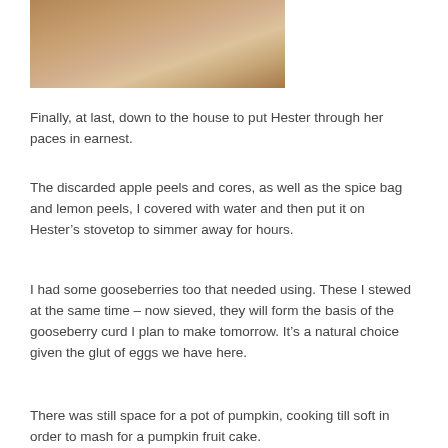[Figure (photo): Partial photograph, appears to show an animal (possibly a cat) with warm brown/orange tones, mostly cropped out of frame]
Finally, at last, down to the house to put Hester through her paces in earnest.
The discarded apple peels and cores, as well as the spice bag and lemon peels, I covered with water and then put it on Hester’s stovetop to simmer away for hours.
I had some gooseberries too that needed using. These I stewed at the same time – now sieved, they will form the basis of the gooseberry curd I plan to make tomorrow. It’s a natural choice given the glut of eggs we have here.
There was still space for a pot of pumpkin, cooking till soft in order to mash for a pumpkin fruit cake.